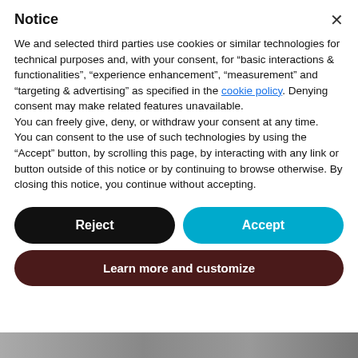Notice
We and selected third parties use cookies or similar technologies for technical purposes and, with your consent, for “basic interactions & functionalities”, “experience enhancement”, “measurement” and “targeting & advertising” as specified in the cookie policy. Denying consent may make related features unavailable.
You can freely give, deny, or withdraw your consent at any time.
You can consent to the use of such technologies by using the “Accept” button, by scrolling this page, by interacting with any link or button outside of this notice or by continuing to browse otherwise. By closing this notice, you continue without accepting.
[Figure (screenshot): Cookie consent modal with Reject, Accept, and Learn more and customize buttons, and a partial image at the bottom]